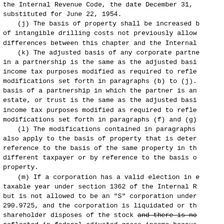the Internal Revenue Code, the date December 31, substituted for June 22, 1954.
(j) The basis of property shall be increased b of intangible drilling costs not previously allow differences between this chapter and the Internal
(k) The adjusted basis of any corporate partne in a partnership is the same as the adjusted basi income tax purposes modified as required to refle modifications set forth in paragraphs (b) to (j). basis of a partnership in which the partner is an estate, or trust is the same as the adjusted basi income tax purposes modified as required to refle modifications set forth in paragraphs (f) and (g)
(l) The modifications contained in paragraphs also apply to the basis of property that is deter reference to the basis of the same property in th different taxpayer or by reference to the basis o property.
(m) If a corporation has a valid election in e taxable year under section 1362 of the Internal R but is not allowed to be an "S" corporation under 290.9725, and the corporation is liquidated or th shareholder disposes of the stock and there is no reflected in federal adjusted gross income becaus that corporate losses have exhausted the shareho